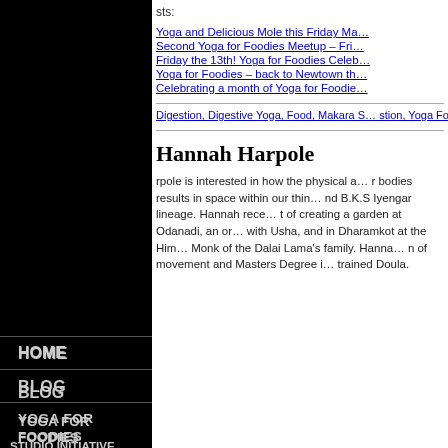[Figure (logo): YogaAnywhere.org circular logo with Om symbol in yellow and red on blue/purple background with red text around the border]
sts:
Yoga and Delicious Mole this Friday Ma…
Second Yoga for Foodies Meetup – Fri…
Friday the 13th! Yoga for Foodies Celeb…
Yoga for Foodies – back to Newtown th…
Celebrating a month of Yoga for Foodie…
Digestion, Digestive Yoga, Food, Makara S… stion, Yoga For Foodies
HOME
BLOG
YOGA FOR FOODIES
STUDIO INITIATIVE
Hannah Harpole
rpole is interested in how the physical a… r bodies results in space within our thin… nd B.K.S Iyengar lineage. Hannah rece… t of creating a garden at Odanadi, an or… with Usha, and in Dharamkot at the Him… Monk of the Dalai Lama's family. Hanna… n of movement and Masters Degree i… trained Doula.